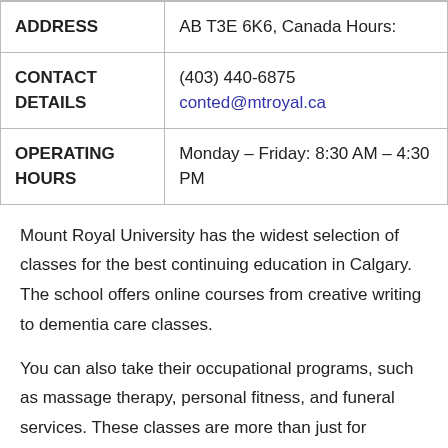| ADDRESS | AB T3E 6K6, Canada Hours: |
| CONTACT DETAILS | (403) 440-6875 conted@mtroyal.ca |
| OPERATING HOURS | Monday – Friday: 8:30 AM – 4:30 PM |
Mount Royal University has the widest selection of classes for the best continuing education in Calgary. The school offers online courses from creative writing to dementia care classes.
You can also take their occupational programs, such as massage therapy, personal fitness, and funeral services. These classes are more than just for knowledge, as there are also practical exams and work immersion for these programs.